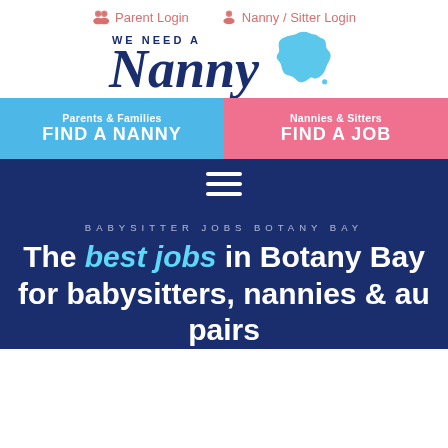Parent Login    Nanny / Sitter Login
[Figure (logo): We Need A Nanny logo with stylized italic 'Nanny' text and Australia map silhouette in blue]
Parents & Families FIND A NANNY
Nannies & Sitters FIND A JOB
[Figure (other): Hamburger menu icon (three horizontal lines) on dark navy background]
BABYSITTER JOBS BOTANY BAY
The best jobs in Botany Bay for babysitters, nannies & au pairs